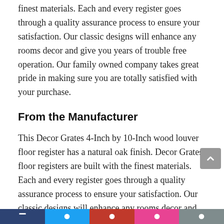finest materials. Each and every register goes through a quality assurance process to ensure your satisfaction. Our classic designs will enhance any rooms decor and give you years of trouble free operation. Our family owned company takes great pride in making sure you are totally satisfied with your purchase.
From the Manufacturer
This Decor Grates 4-Inch by 10-Inch wood louver floor register has a natural oak finish. Decor Grates floor registers are built with the finest materials. Each and every register goes through a quality assurance process to ensure your satisfaction. Our classic designs will enhance any rooms decor and give you years of trouble free operation. Our family owned company takes great pride in making sure you